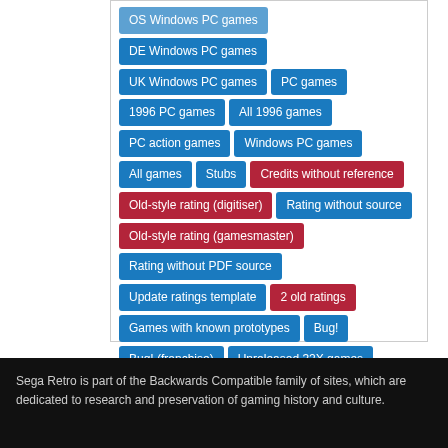OS Windows PC games
DE Windows PC games
UK Windows PC games
PC games
1996 PC games
All 1996 games
PC action games
Windows PC games
All games
Stubs
Credits without reference
Old-style rating (digitiser)
Rating without source
Old-style rating (gamesmaster)
Rating without PDF source
Update ratings template
2 old ratings
Games with known prototypes
Bug!
Bug! (franchise)
Unreleased 32X games
Sega Retro is part of the Backwards Compatible family of sites, which are dedicated to research and preservation of gaming history and culture.